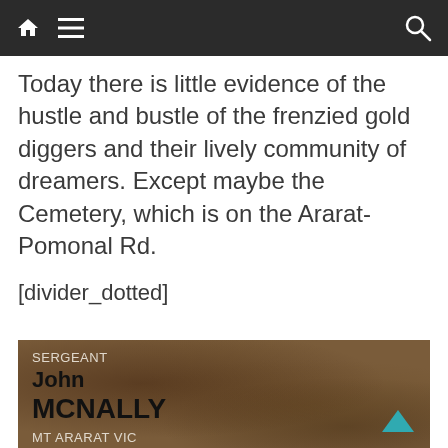Navigation bar with home, menu, and search icons
Today there is little evidence of the hustle and bustle of the frenzied gold diggers and their lively community of dreamers. Except maybe the Cemetery, which is on the Ararat-Pomonal Rd.
[divider_dotted]
[Figure (photo): Aged gravestone or memorial card showing: SERGEANT, John, MCNALLY, MT ARARAT VIC, 16 October 1856, with mottled brown stone texture background and a back-to-top arrow icon in teal at bottom right]